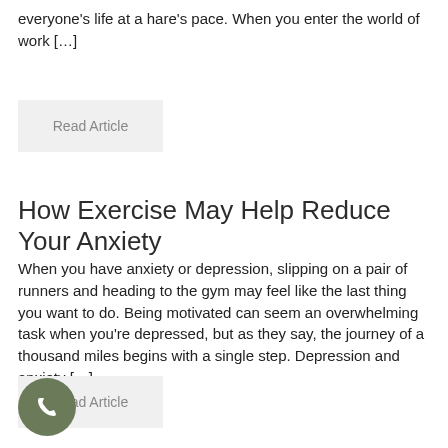everyone's life at a hare's pace. When you enter the world of work […]
Read Article
How Exercise May Help Reduce Your Anxiety
When you have anxiety or depression, slipping on a pair of runners and heading to the gym may feel like the last thing you want to do. Being motivated can seem an overwhelming task when you're depressed, but as they say, the journey of a thousand miles begins with a single step. Depression and anxiety […]
Read Article
[Figure (other): Round dark olive green phone/call button icon with white telephone handset symbol]